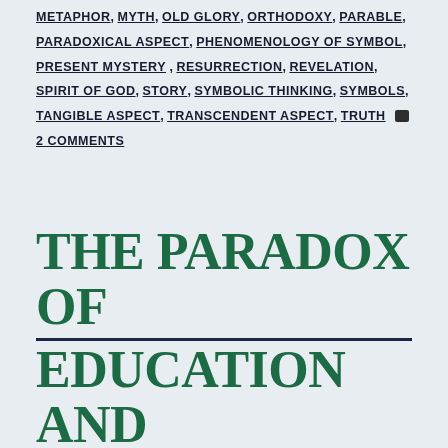METAPHOR, MYTH, OLD GLORY, ORTHODOXY, PARABLE, PARADOXICAL ASPECT, PHENOMENOLOGY OF SYMBOL, PRESENT MYSTERY, RESURRECTION, REVELATION, SPIRIT OF GOD, STORY, SYMBOLIC THINKING, SYMBOLS, TANGIBLE ASPECT, TRANSCENDENT ASPECT, TRUTH  2 COMMENTS
THE PARADOX OF EDUCATION AND THE SEARCH FOR IT'S SOUL